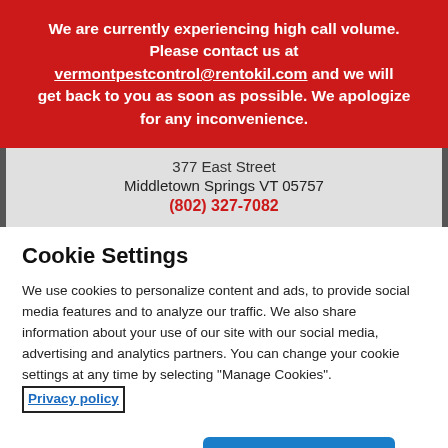We are currently experiencing high call volume. Please contact us at vermontpestcontrol@rentokil.com and we will get back to you as soon as possible. We apologize for any inconvenience.
377 East Street
Middletown Springs VT 05757
(802) 327-7082
Cookie Settings
We use cookies to personalize content and ads, to provide social media features and to analyze our traffic. We also share information about your use of our site with our social media, advertising and analytics partners. You can change your cookie settings at any time by selecting “Manage Cookies”. Privacy policy
Cookies Settings
Accept All Cookies